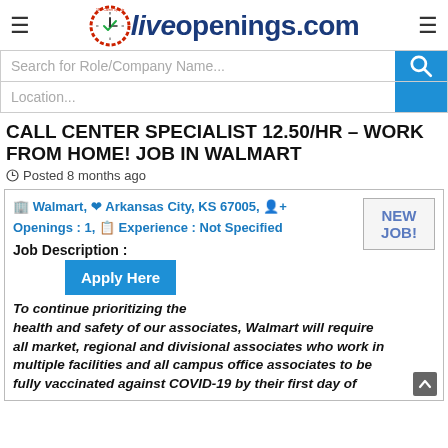LiveOpenings.com
Search for Role/Company Name...
Location...
CALL CENTER SPECIALIST 12.50/HR – WORK FROM HOME! JOB IN WALMART
Posted 8 months ago
Walmart, Arkansas City, KS 67005, Openings : 1, Experience : Not Specified
NEW JOB!
Apply Here
Job Description :
To continue prioritizing the health and safety of our associates, Walmart will require all market, regional and divisional associates who work in multiple facilities and all campus office associates to be fully vaccinated against COVID-19 by their first day of